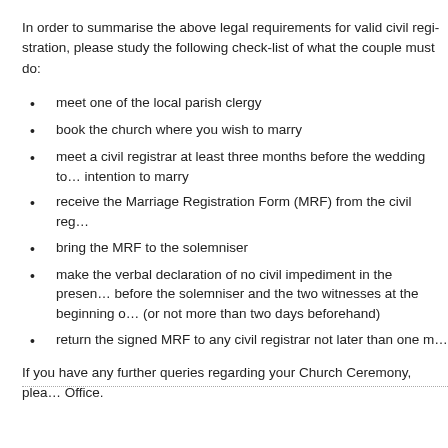In order to summarise the above legal requirements for valid civil regi... please study the following check-list of what the couple must do:
meet one of the local parish clergy
book the church where you wish to marry
meet a civil registrar at least three months before the wedding to... intention to marry
receive the Marriage Registration Form (MRF) from the civil reg...
bring the MRF to the solemniser
make the verbal declaration of no civil impediment in the presen... before the solemniser and the two witnesses at the beginning o... (or not more than two days beforehand)
return the signed MRF to any civil registrar not later than one m...
If you have any further queries regarding your Church Ceremony, plea... Office.